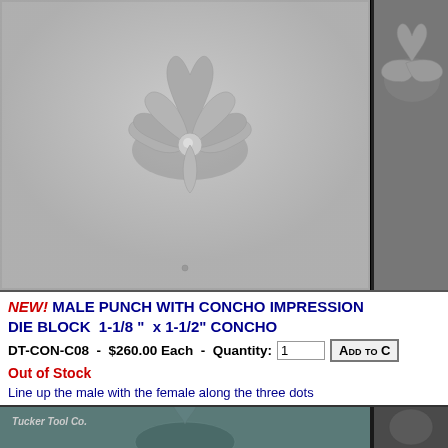[Figure (photo): Metal die block showing concho impression from top view - matte gray metal surface with flower/shell concho design protruding upward, shown in two side-by-side views]
NEW! MALE PUNCH WITH CONCHO IMPRESSION DIE BLOCK 1-1/8" x 1-1/2" CONCHO
DT-CON-C08 - $260.00 Each - Quantity: 1 ADD TO [cart]
Out of Stock
Line up the male with the female along the three dots
[Figure (photo): Bottom metal die block with Tucker Tool Co. branding and concho impression showing flower/shell design pressed into steel, shown in two side-by-side views]